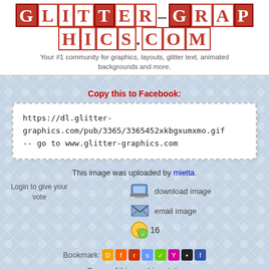GLITTER-GRAPHICS.COM
Your #1 community for graphics, layouts, glitter text, animated backgrounds and more.
Copy this to Facebook:
https://dl.glitter-graphics.com/pub/3365/3365452xkbgxumxmo.gif
-- go to www.glitter-graphics.com
This image was uploaded by mietta.
Login to give your vote
[Figure (illustration): Download image icon (laptop)]
download image
[Figure (illustration): Email image icon (envelope)]
email image
[Figure (illustration): Voting/rating icon with number 16]
16
Bookmark:
Owner of this graphic: mietta
File size: 294.8kB  [600x660]